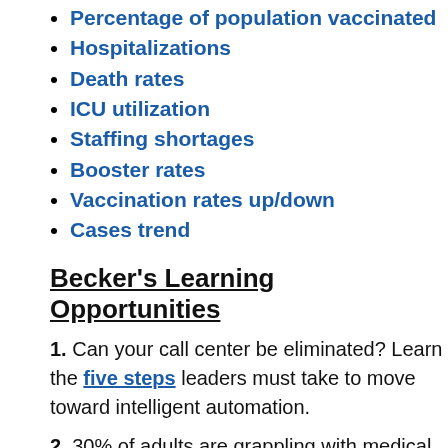Percentage of population vaccinated
Hospitalizations
Death rates
ICU utilization
Staffing shortages
Booster rates
Vaccination rates up/down
Cases trend
Becker's Learning Opportunities
1. Can your call center be eliminated? Learn the five steps leaders must take to move toward intelligent automation.
2. 30% of adults are grappling with medical costs — including your patients. It's time to put patient payments first. Here's how
3. Healthcare CEOs agree that current delivery and business models aren't ready for coming changes. Learn how to prepare with streamlined workflows and connected data.